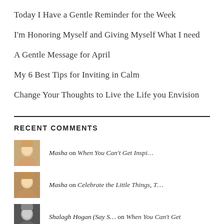Today I Have a Gentle Reminder for the Week
I'm Honoring Myself and Giving Myself What I need
A Gentle Message for April
My 6 Best Tips for Inviting in Calm
Change Your Thoughts to Live the Life you Envision
RECENT COMMENTS
Masha on When You Can't Get Inspi…
Masha on Celebrate the Little Things, T…
Shalagh Hogan (Say S… on When You Can't Get